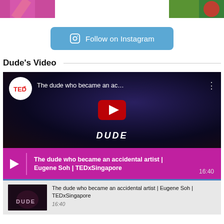[Figure (photo): Two cropped photo thumbnails at the top — left shows a person in pink/magenta, right shows a colorful image with green and red tones]
Follow on Instagram
Dude's Video
[Figure (screenshot): Embedded YouTube video player showing TEDx talk: 'The dude who became an ac...' by Eugene Soh at TEDxSingapore. Duration 16:40. Below the video thumbnail is a magenta info bar with play button and title 'The dude who became an accidental artist | Eugene Soh | TEDxSingapore', and a second row showing the next video thumbnail with the same title and 16:40 duration.]